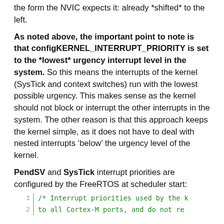Note that configKERNEL_INTERRUPT_PRIORITY is in the form the NVIC expects it: already *shifted* to the left.
As noted above, the important point to note is that configKERNEL_INTERRUPT_PRIORITY is set to the *lowest* urgency interrupt level in the system. So this means the interrupts of the kernel (SysTick and context switches) run with the lowest possible urgency. This makes sense as the kernel should not block or interrupt the other interrupts in the system. The other reason is that this approach keeps the kernel simple, as it does not have to deal with nested interrupts ‘below’ the urgency level of the kernel.
PendSV and SysTick interrupt priorities are configured by the FreeRTOS at scheduler start:
/* Interrupt priorities used by the k
   to all Cortex-M ports, and do not re